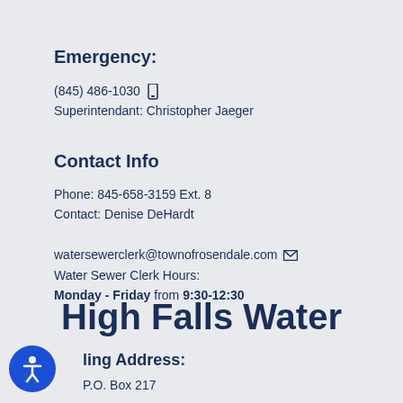Emergency:
(845) 486-1030 [phone icon]
Superintendant: Christopher Jaeger
Contact Info
Phone: 845-658-3159 Ext. 8
Contact: Denise DeHardt

watersewerclerk@townofrosendale.com [email icon]
Water Sewer Clerk Hours:
Monday - Friday from 9:30-12:30
High Falls Water
Mailing Address:
P.O. Box 217